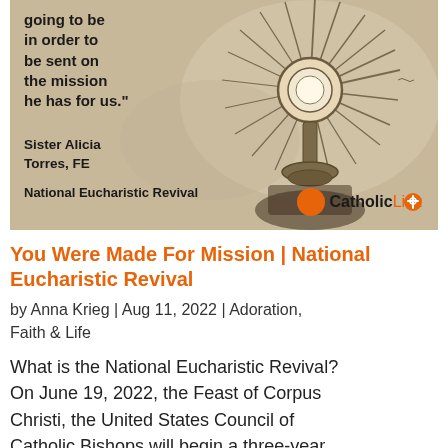[Figure (photo): A sepia-toned image of a monstrance (Eucharistic vessel) with radiating rays, set against a light background. Overlaid text includes a quote ending '...going to be in order to be sent on the mission he has for us.' attributed to Sister Alicia Torres, FE, and labeled National Eucharistic Revival. Catholic Link logo in bottom right.]
You Were Made For Mission | National Eucharistic Revival
by Anna Krieg | Aug 11, 2022 | Adoration, Faith & Life
What is the National Eucharistic Revival? On June 19, 2022, the Feast of Corpus Christi, the United States Council of Catholic Bishops will begin a three-year focus on the real presence of Christ in the Eucharist that is intended to be a National